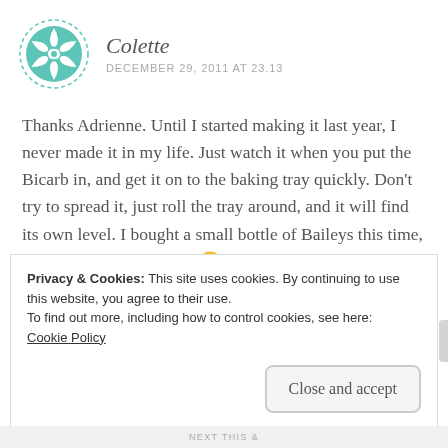[Figure (logo): Circular teal/mint decorative avatar icon with geometric floral/snowflake pattern, dashed border circle]
Colette
DECEMBER 29, 2011 AT 23.13
Thanks Adrienne. Until I started making it last year, I never made it in my life. Just watch it when you put the Bicarb in, and get it on to the baking tray quickly. Don't try to spread it, just roll the tray around, and it will find its own level. I bought a small bottle of Baileys this time, so I wouldn't be tempted 🙂
Privacy & Cookies: This site uses cookies. By continuing to use this website, you agree to their use.
To find out more, including how to control cookies, see here:
Cookie Policy
Close and accept